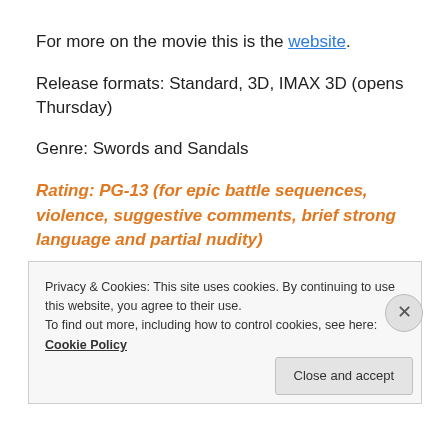For more on the movie this is the website.
Release formats: Standard, 3D, IMAX 3D (opens Thursday)
Genre: Swords and Sandals
Rating: PG-13 (for epic battle sequences, violence, suggestive comments, brief strong language and partial nudity)
Privacy & Cookies: This site uses cookies. By continuing to use this website, you agree to their use. To find out more, including how to control cookies, see here: Cookie Policy
Close and accept